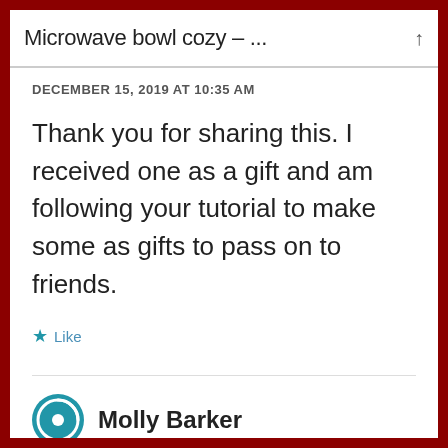Microwave bowl cozy – ...
DECEMBER 15, 2019 AT 10:35 AM
Thank you for sharing this. I received one as a gift and am following your tutorial to make some as gifts to pass on to friends.
Like
Molly Barker